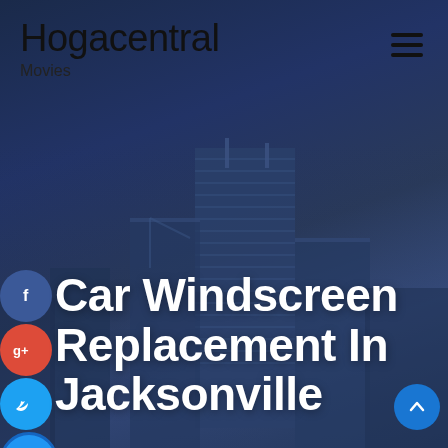Hogacentral
Movies
[Figure (screenshot): City skyline background with tall skyscrapers against a dark blue evening sky]
[Figure (illustration): Social media icons on left side: Facebook (blue circle with f), Google+ (red circle with g+), Twitter (blue circle with bird), Pinterest/other (blue circle with +)]
Car Windscreen Replacement In Jacksonville